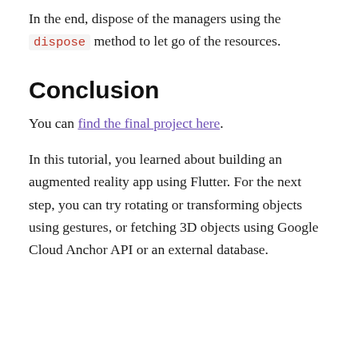In the end, dispose of the managers using the dispose method to let go of the resources.
Conclusion
You can find the final project here.
In this tutorial, you learned about building an augmented reality app using Flutter. For the next step, you can try rotating or transforming objects using gestures, or fetching 3D objects using Google Cloud Anchor API or an external database.